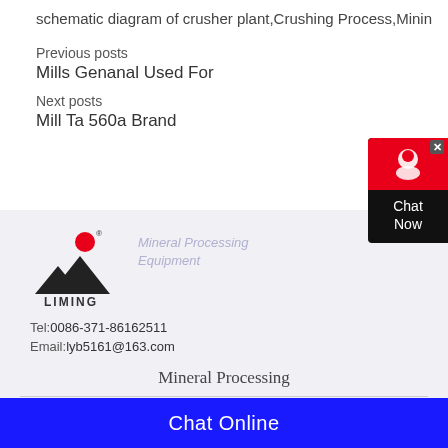schematic diagram of crusher plant,Crushing Process,Minin
Previous posts
Mills Genanal Used For
Next posts
Mill Ta 560a Brand
[Figure (logo): Liming company logo with red circle and black triangular mountain shapes, text LIMING below]
Mineral Processing Equipment
Tel:0086-371-86162511
Email:lyb5161@163.com
Mineral Processing
Stone Cone Crusher Cone Crusher
Chat Online